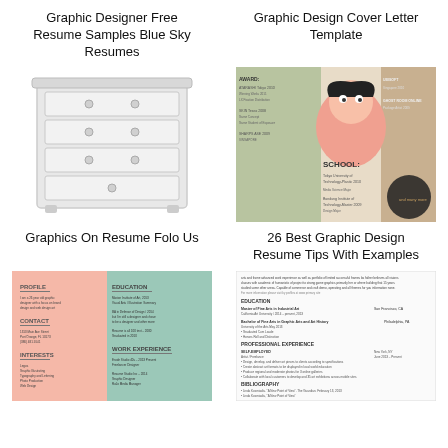Graphic Designer Free Resume Samples Blue Sky Resumes
Graphic Design Cover Letter Template
[Figure (illustration): White wooden dresser with multiple drawers and round knobs]
[Figure (illustration): Colorful graphic design resume with cartoon character illustration, showing AWARD and SCHOOL sections]
Graphics On Resume Folo Us
26 Best Graphic Design Resume Tips With Examples
[Figure (illustration): Graphic design resume with pink and teal color blocks showing PROFILE, CONTACT, INTERESTS sections]
[Figure (illustration): Text-based graphic design resume with EDUCATION and PROFESSIONAL EXPERIENCE sections]